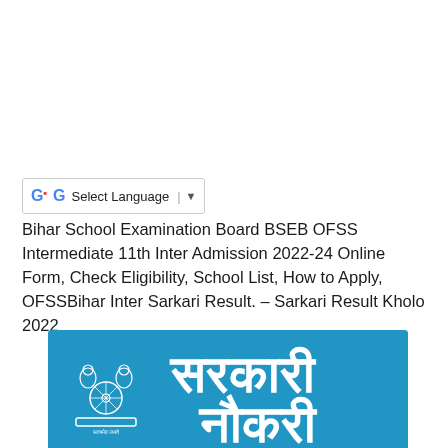[Figure (screenshot): Google Translate widget showing 'G Select Language' with dropdown arrow, bordered box]
Bihar School Examination Board BSEB OFSS Intermediate 11th Inter Admission 2022-24 Online Form, Check Eligibility, School List, How to Apply, OFSSBihar Inter Sarkari Result. – Sarkari Result Kholo 2022
[Figure (logo): Blue banner image with Ashoka Emblem (white outline) on the left and large white Devanagari text reading 'Sarkari Naukri' on the right]